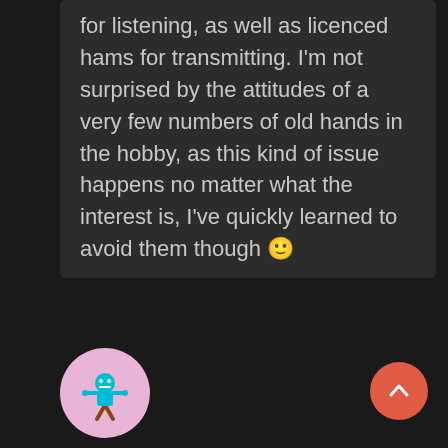for listening, as well as licenced hams for transmitting. I'm not surprised by the attitudes of a very few numbers of old hands in the hobby, as this kind of issue happens no matter what the interest is, I've quickly learned to avoid them though 🙂
Cheers, de 2E0GXE
REPLY
[Figure (illustration): Circular avatar with pink background showing a blue snowflake or robot character icon]
[Figure (illustration): Red/coral circular scroll-to-top button with upward chevron arrow]